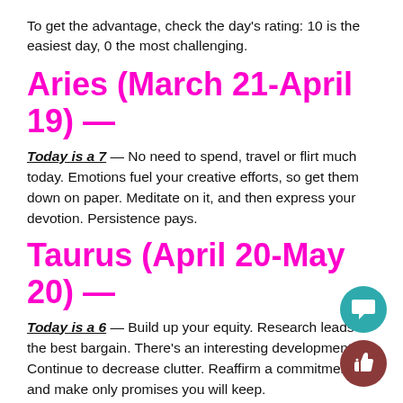To get the advantage, check the day's rating: 10 is the easiest day, 0 the most challenging.
Aries (March 21-April 19) —
Today is a 7 — No need to spend, travel or flirt much today. Emotions fuel your creative efforts, so get them down on paper. Meditate on it, and then express your devotion. Persistence pays.
Taurus (April 20-May 20) —
Today is a 6 — Build up your equity. Research leads to the best bargain. There's an interesting development. Continue to decrease clutter. Reaffirm a commitment, and make only promises you will keep.